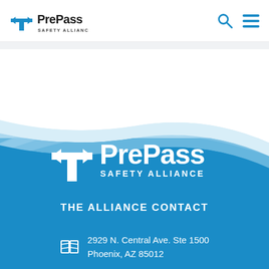PrePass Safety Alliance
[Figure (logo): PrePass Safety Alliance logo with blue T-arrow icon and text in top navigation bar]
[Figure (illustration): Blue wave curved background swooping from white upper section into solid blue lower section]
[Figure (logo): PrePass Safety Alliance white logo on blue background in footer area]
THE ALLIANCE CONTACT
2929 N. Central Ave. Ste 1500
Phoenix, AZ 85012